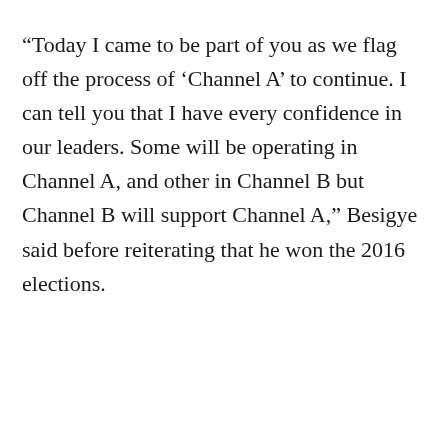“Today I came to be part of you as we flag off the process of ‘Channel A’ to continue. I can tell you that I have every confidence in our leaders. Some will be operating in Channel A, and other in Channel B but Channel B will support Channel A,” Besigye said before reiterating that he won the 2016 elections.